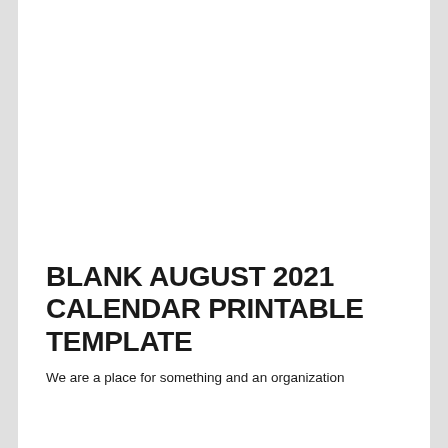BLANK AUGUST 2021 CALENDAR PRINTABLE TEMPLATE
We are a place for something and an organization